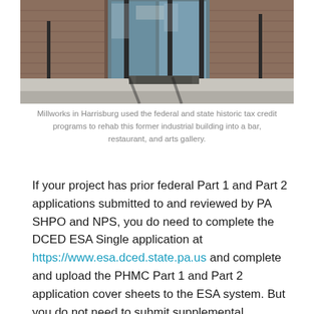[Figure (photo): Exterior photo of Millworks in Harrisburg, showing the entrance of a brick industrial building converted into a bar, restaurant, and arts gallery. Metal poles/columns and glass doors are visible in the foreground with a parking area.]
Millworks in Harrisburg used the federal and state historic tax credit programs to rehab this former industrial building into a bar, restaurant, and arts gallery.
If your project has prior federal Part 1 and Part 2 applications submitted to and reviewed by PA SHPO and NPS, you do need to complete the DCED ESA Single application at https://www.esa.dced.state.pa.us and complete and upload the PHMC Part 1 and Part 2 application cover sheets to the ESA system. But you do not need to submit supplemental application materials (P1/P2 narrative descriptions, photographs, architectural plans, etc…) as those are on file with our office.